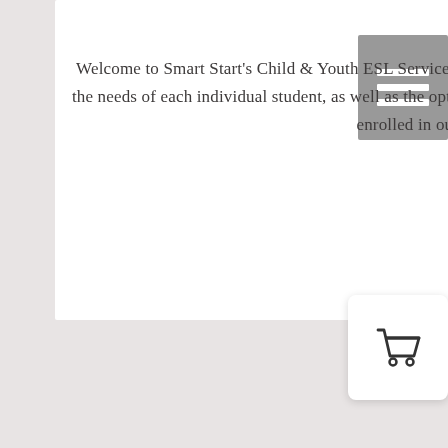Welcome to Smart Start's Child & Youth ESL Services! We are happy to provide Custom Programs to suit the needs of each individual student, as well as the option for shared learning with friends or other students enrolled in our programs.
[Figure (other): Gray hamburger menu button with three white horizontal lines]
[Figure (other): White rounded square button with a shopping cart icon]